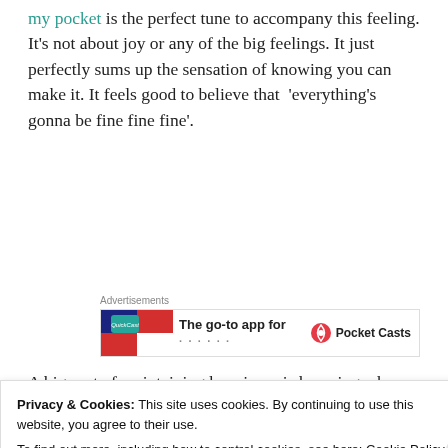my pocket is the perfect tune to accompany this feeling. It's not about joy or any of the big feelings. It just perfectly sums up the sensation of knowing you can make it. It feels good to believe that 'everything's gonna be fine fine fine'.
[Figure (infographic): Advertisement banner showing 'The go-to app for' text with a logo on the left and Pocket Casts logo on the right, labeled 'Advertisements']
A big part of maintaining happiness is knowing when to put yourself first. I have not always been great at
Privacy & Cookies: This site uses cookies. By continuing to use this website, you agree to their use.
To find out more, including how to control cookies, see here: Cookie Policy
Close and accept